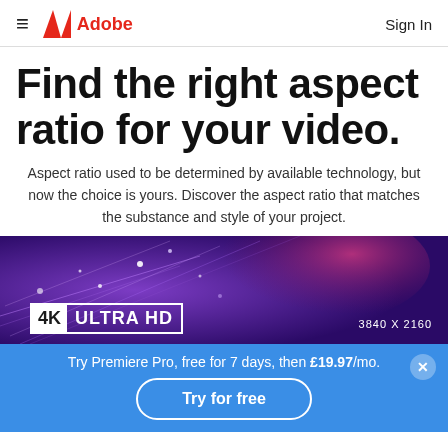≡  Adobe  Sign In
Find the right aspect ratio for your video.
Aspect ratio used to be determined by available technology, but now the choice is yours. Discover the aspect ratio that matches the substance and style of your project.
[Figure (photo): A colorful abstract photo with purple and magenta fiber optic light streaks. A badge overlay reads '4K ULTRA HD' with '3840 X 2160' on the right side.]
Try Premiere Pro, free for 7 days, then £19.97/mo.
Try for free